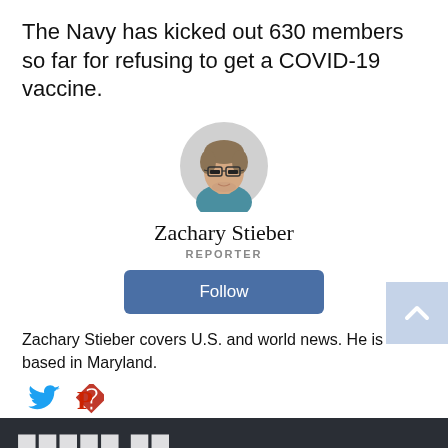The Navy has kicked out 630 members so far for refusing to get a COVID-19 vaccine.
[Figure (photo): Circular profile photo of Zachary Stieber, a young man with glasses and short hair]
Zachary Stieber
REPORTER
[Figure (other): Blue Follow button]
Zachary Stieber covers U.S. and world news. He is based in Maryland.
[Figure (other): Social media icons: Twitter (blue bird) and Parler (red P)]
[Figure (screenshot): Dark navigation bar with large logo text partially visible]
1937 SHARES | FRIENDS READ FREE
591 COMMENTS
[Figure (other): Share button (blue), Email button (yellow/gold), Comment button (black)]